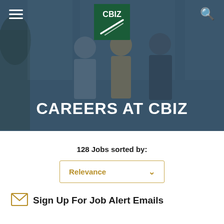[Figure (screenshot): CBIZ website hero banner with office background showing professionals in conversation, overlaid with dark blue-green tint. Navigation bar with hamburger menu on left, CBIZ logo in center top, and search icon on right.]
CAREERS AT CBIZ
128 Jobs sorted by:
Relevance
Sign Up For Job Alert Emails